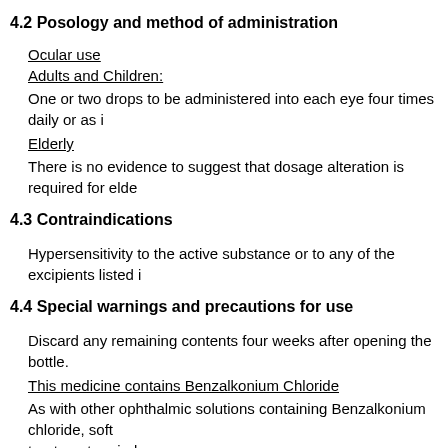4.2 Posology and method of administration
Ocular use
Adults and Children:
One or two drops to be administered into each eye four times daily or as i
Elderly
There is no evidence to suggest that dosage alteration is required for elde
4.3 Contraindications
Hypersensitivity to the active substance or to any of the excipients listed i
4.4 Special warnings and precautions for use
Discard any remaining contents four weeks after opening the bottle.
This medicine contains Benzalkonium Chloride
As with other ophthalmic solutions containing Benzalkonium chloride, soft contact lenses should not be worn during the treatment period.
From the limited data available, there is no difference in the adverse even
Generally, however, eyes in children show a stronger reaction for a given stimulus than in adults, which could have an effect on treatment adherence in children.
Benzalkonium chloride has been reported to cause eye irritation, symptoms and signs of ocular surface. Should be used with caution in dry eye patients and in pa